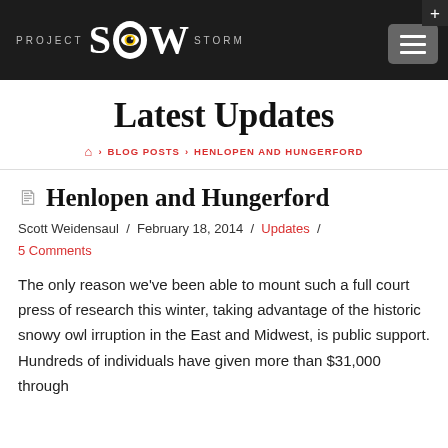PROJECT SNOWSTORM
Latest Updates
🏠 › BLOG POSTS › HENLOPEN AND HUNGERFORD
Henlopen and Hungerford
Scott Weidensaul / February 18, 2014 / Updates / 5 Comments
The only reason we've been able to mount such a full court press of research this winter, taking advantage of the historic snowy owl irruption in the East and Midwest, is public support. Hundreds of individuals have given more than $31,000 through